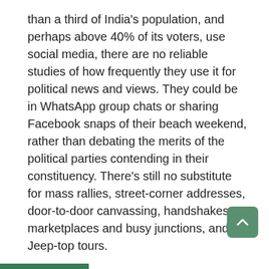than a third of India's population, and perhaps above 40% of its voters, use social media, there are no reliable studies of how frequently they use it for political news and views. They could be in WhatsApp group chats or sharing Facebook snaps of their beach weekend, rather than debating the merits of the political parties contending in their constituency. There's still no substitute for mass rallies, street-corner addresses, door-to-door canvassing, handshakes at marketplaces and busy junctions, and Jeep-top tours.